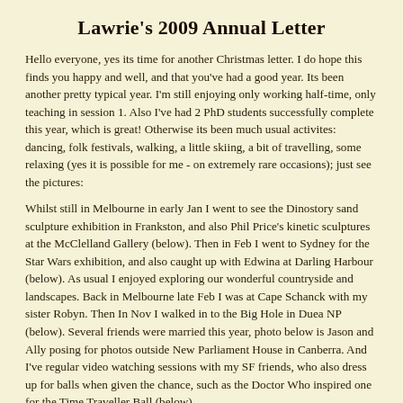Lawrie's 2009 Annual Letter
Hello everyone, yes its time for another Christmas letter. I do hope this finds you happy and well, and that you've had a good year. Its been another pretty typical year. I'm still enjoying only working half-time, only teaching in session 1. Also I've had 2 PhD students successfully complete this year, which is great! Otherwise its been much usual activites: dancing, folk festivals, walking, a little skiing, a bit of travelling, some relaxing (yes it is possible for me - on extremely rare occasions); just see the pictures:
Whilst still in Melbourne in early Jan I went to see the Dinostory sand sculpture exhibition in Frankston, and also Phil Price's kinetic sculptures at the McClelland Gallery (below). Then in Feb I went to Sydney for the Star Wars exhibition, and also caught up with Edwina at Darling Harbour (below). As usual I enjoyed exploring our wonderful countryside and landscapes. Back in Melbourne late Feb I was at Cape Schanck with my sister Robyn. Then In Nov I walked in to the Big Hole in Duea NP (below). Several friends were married this year, photo below is Jason and Ally posing for photos outside New Parliament House in Canberra. And I've regular video watching sessions with my SF friends, who also dress up for balls when given the chance, such as the Doctor Who inspired one for the Time Traveller Ball (below).